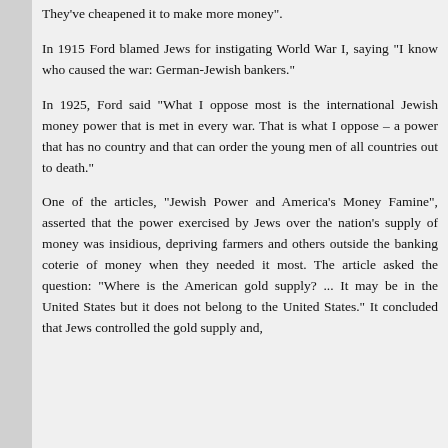They've cheapened it to make more money".
In 1915 Ford blamed Jews for instigating World War I, saying "I know who caused the war: German-Jewish bankers."
In 1925, Ford said "What I oppose most is the international Jewish money power that is met in every war. That is what I oppose – a power that has no country and that can order the young men of all countries out to death."
One of the articles, "Jewish Power and America's Money Famine", asserted that the power exercised by Jews over the nation's supply of money was insidious, depriving farmers and others outside the banking coterie of money when they needed it most. The article asked the question: "Where is the American gold supply? ... It may be in the United States but it does not belong to the United States." It concluded that Jews controlled the gold supply and,